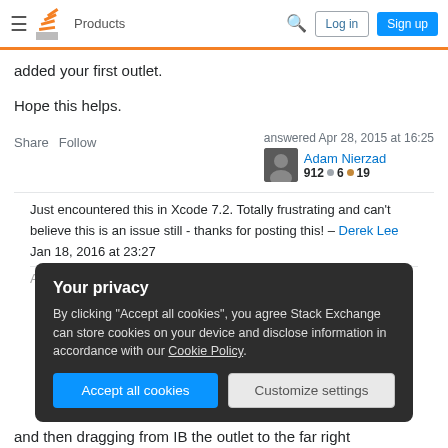≡  [Stack Overflow logo]  Products  🔍  Log in  Sign up
added your first outlet.
Hope this helps.
Share  Follow  |  answered Apr 28, 2015 at 16:25  Adam Nierzad  912 ●6 ●19
Just encountered this in Xcode 7.2. Totally frustrating and can't believe this is an issue still - thanks for posting this! – Derek Lee Jan 18, 2016 at 23:27
Add a comment
Your privacy
By clicking "Accept all cookies", you agree Stack Exchange can store cookies on your device and disclose information in accordance with our Cookie Policy.
Accept all cookies  |  Customize settings
and then dragging from IB the outlet to the far right